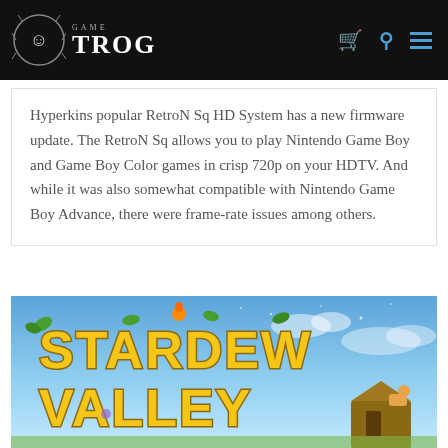Game Trog — navigation header with logo, cart, search, and menu icons
Hyperkins popular RetroN Sq HD System has a new firmware update. The RetroN Sq allows you to play Nintendo Game Boy and Game Boy Color games in crisp 720p on your HDTV. And while it was also somewhat compatible with Nintendo Game Boy Advance, there were frame-rate issues among others.
[Figure (photo): Stardew Valley game promotional image with large yellow stylized text 'STARDEW VALLEY' on a blue sky background with green leaves, a small bird, and a barn scene at the bottom right]